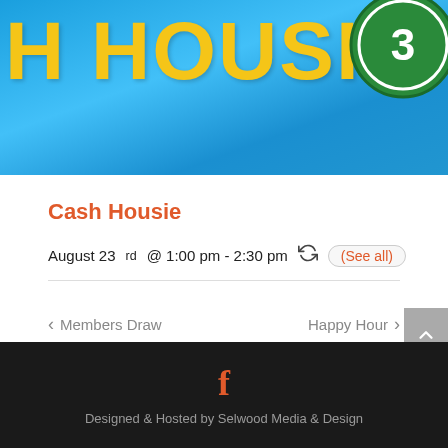[Figure (illustration): Banner image with blue background showing partial text 'H HOUSIE' in large yellow letters and a green coin/circle on the right side]
Cash Housie
August 23rd @ 1:00 pm - 2:30 pm  (See all)
< Members Draw    Happy Hour >
Designed & Hosted by Selwood Media & Design